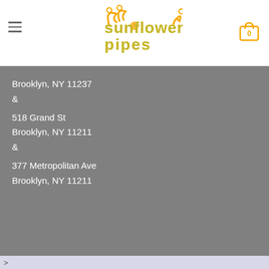[Figure (logo): Sunflower Pipes logo with decorative orange and yellow lettering and a sunflower graphic]
Brooklyn, NY 11237
&
518 Grand St
Brooklyn, NY 11211
&
377 Metropolitan Ave
Brooklyn, NY 11211
[Figure (infographic): Payment method icons: VISA, PayPal, stripe, MasterCard, CASH ON DELIVERY]
Copyright 2022 © Sunflower Glass Company